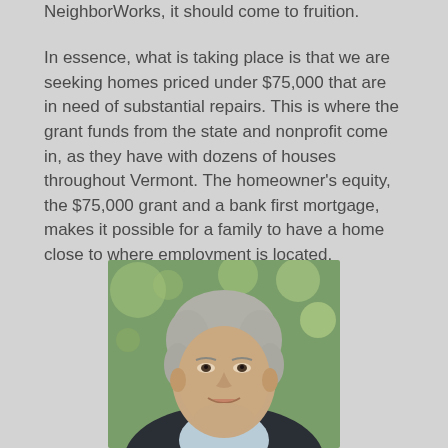NeighborWorks, it should come to fruition.
In essence, what is taking place is that we are seeking homes priced under $75,000 that are in need of substantial repairs. This is where the grant funds from the state and nonprofit come in, as they have with dozens of houses throughout Vermont. The homeowner's equity, the $75,000 grant and a bank first mortgage, makes it possible for a family to have a home close to where employment is located.
[Figure (photo): Portrait photograph of an older man with grey hair, wearing a dark suit jacket and light blue shirt, smiling, with a blurred green outdoor background.]